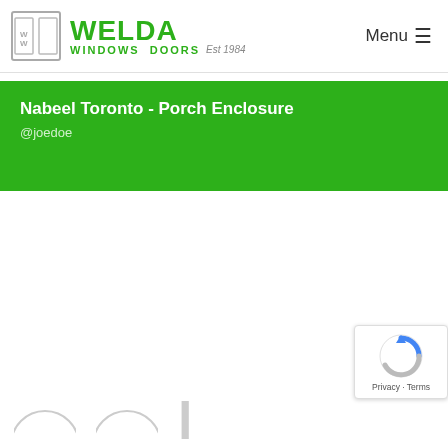WELDA WINDOWS DOORS Est 1984 | Menu
Nabeel Toronto - Porch Enclosure
@joedoe
[Figure (logo): reCAPTCHA badge with Privacy - Terms text]